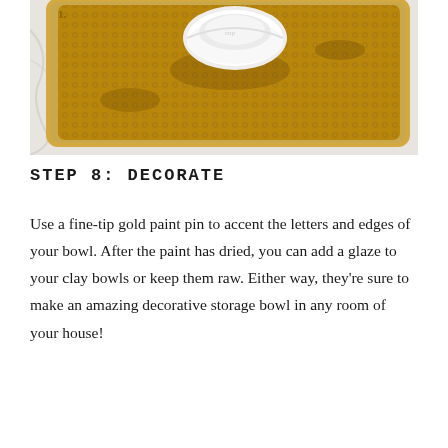[Figure (photo): Top-down view of a gold/brown textured baking tray or mat on a marble surface, with a white ceramic bowl placed on top of it. The tray has a dimpled/honeycomb texture and gold-toned edges.]
STEP 8: DECORATE
Use a fine-tip gold paint pin to accent the letters and edges of your bowl. After the paint has dried, you can add a glaze to your clay bowls or keep them raw. Either way, they're sure to make an amazing decorative storage bowl in any room of your house!